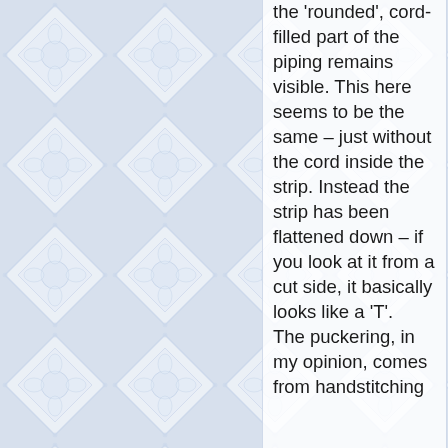[Figure (illustration): Blue decorative tile pattern background with floral/geometric diamond motifs in light blue and white]
the 'rounded', cord-filled part of the piping remains visible. This here seems to be the same – just without the cord inside the strip. Instead the strip has been flattened down – if you look at it from a cut side, it basically looks like a 'T'. The puckering, in my opinion, comes from handstitching